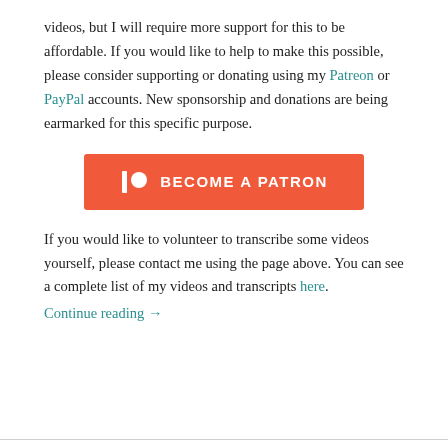videos, but I will require more support for this to be affordable. If you would like to help to make this possible, please consider supporting or donating using my Patreon or PayPal accounts. New sponsorship and donations are being earmarked for this specific purpose.
[Figure (other): Orange 'Become a Patron' button with Patreon logo icon (vertical bar and circle) in white on left side]
If you would like to volunteer to transcribe some videos yourself, please contact me using the page above. You can see a complete list of my videos and transcripts here.
Continue reading →